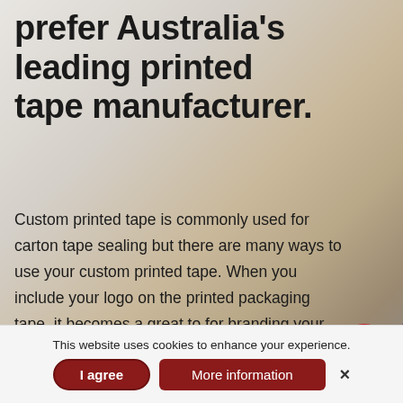prefer Australia's leading printed tape manufacturer.
Custom printed tape is commonly used for carton tape sealing but there are many ways to use your custom printed tape. When you include your logo on the printed packaging tape, it becomes a great to for branding your products with your marketing message. Completely customisable - the possibilities are endless!
[Figure (other): Red circular scroll-to-top button with upward chevron arrow]
This website uses cookies to enhance your experience.
I agree   More information   ×